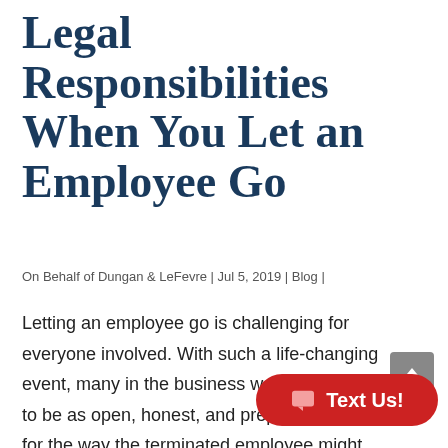Legal Responsibilities When You Let an Employee Go
On Behalf of Dungan & LeFevre | Jul 5, 2019 | Blog |
Letting an employee go is challenging for everyone involved. With such a life-changing event, many in the business world feel it is prudent to be as open, honest, and prepared as possible for the way the terminated employee might respond... termination.